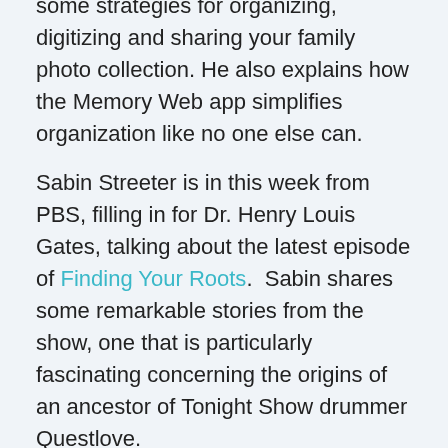some strategies for organizing, digitizing and sharing your family photo collection. He also explains how the Memory Web app simplifies organization like no one else can.
Sabin Streeter is in this week from PBS, filling in for Dr. Henry Louis Gates, talking about the latest episode of Finding Your Roots.  Sabin shares some remarkable stories from the show, one that is particularly fascinating concerning the origins of an ancestor of Tonight Show drummer Questlove.
Then, David Allen Lambert returns for another Ask Us Anything listener question.